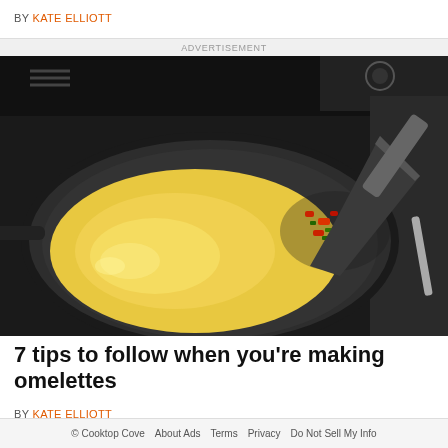BY KATE ELLIOTT
ADVERTISEMENT
[Figure (photo): Omelet cooking in a dark non-stick frying pan on a black stovetop, with colorful red and green vegetable filling being added by a dark spatula]
7 tips to follow when you're making omelettes
BY KATE ELLIOTT
© Cooktop Cove  About Ads  Terms  Privacy  Do Not Sell My Info